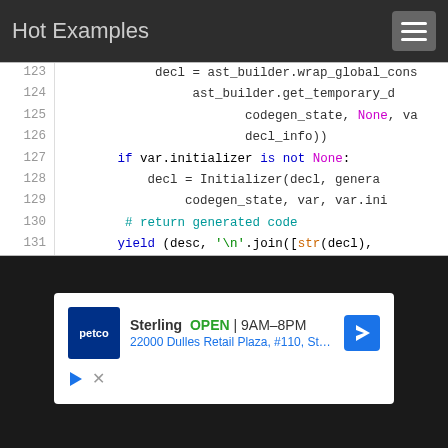Hot Examples
[Figure (screenshot): Syntax-highlighted Python code snippet, lines 123–131, showing ast_builder, codegen_state, Initializer, yield, and related code on a white background with line numbers.]
[Figure (screenshot): Advertisement for Petco Sterling location: OPEN 9AM-8PM, 22000 Dulles Retail Plaza, #110, Sterling]